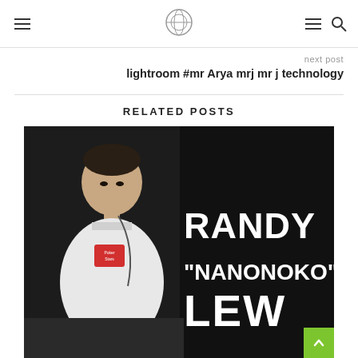Navigation header with hamburger menus, logo, and search icon
next post
lightroom #mr Arya mrj mr j technology
RELATED POSTS
[Figure (photo): Photo of Randy 'Nanonoko' Lew wearing a PokerStars hoodie seated at a desk, with text overlay reading RANDY "NANONOKO" LEW on dark background]